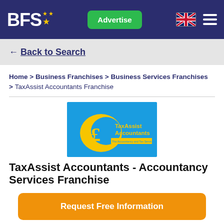BFS★ | Advertise | [UK Flag] [Menu]
← Back to Search
Home > Business Franchises > Business Services Franchises > TaxAssist Accountants Franchise
[Figure (logo): TaxAssist Accountants logo on blue background with yellow pound sign graphic and text 'TaxAssist Accountants - The Accountancy and Tax Service for Small Business']
TaxAssist Accountants - Accountancy Services Franchise
Request Free Information